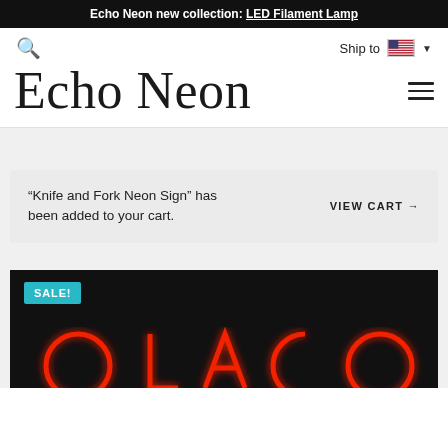Echo Neon new collection: LED Filament Lamp
Ship to [US Flag]
Echo Neon
"Knife and Fork Neon Sign" has been added to your cart. VIEW CART →
[Figure (photo): Dark black background product area showing neon sign product with red/orange neon glowing letters, with a teal SALE! badge in the upper left corner]